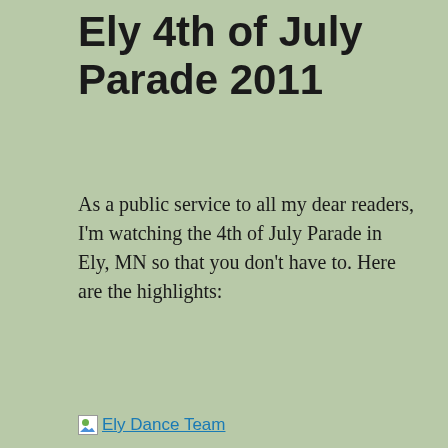Ely 4th of July Parade 2011
As a public service to all my dear readers, I’m watching the 4th of July Parade in Ely, MN so that you don’t have to.  Here are the highlights:
[Figure (photo): Broken image placeholder for 'Ely Dance Team' — a hyperlinked image that failed to load, showing the alt text as a link.]